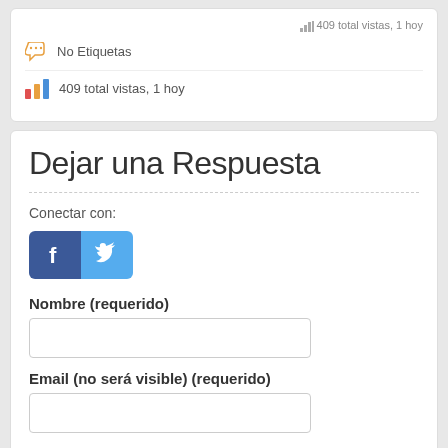409 total vistas, 1 hoy
No Etiquetas
409 total vistas, 1 hoy
Dejar una Respuesta
Conectar con:
[Figure (other): Facebook and Twitter social login buttons]
Nombre (requerido)
Email (no será visible) (requerido)